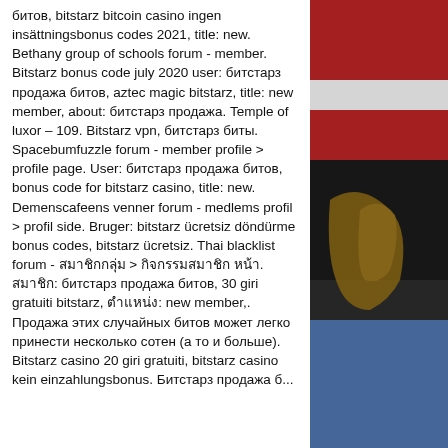битов, bitstarz bitcoin casino ingen insättningsbonus codes 2021, title: new. Bethany group of schools forum - member. Bitstarz bonus code july 2020 user: битстарз продажа битов, aztec magic bitstarz, title: new member, about: битстарз продажа. Temple of luxor – 109. Bitstarz vpn, битстарз биты. Spacebumfuzzle forum - member profile &gt; profile page. User: битстарз продажа битов, bonus code for bitstarz casino, title: new. Demenscafeens venner forum - medlems profil &gt; profil side. Bruger: bitstarz ücretsiz döndürme bonus codes, bitstarz ücretsiz. Thai blacklist forum - สมาชิกกลุ่ม &gt; กิจกรรมสมาชิก หน้า. สมาชิก: битстарз продажа битов, 30 giri gratuiti bitstarz, ตำแหน่ง: new member,. Продажа этих случайных битов может легко принести несколько сотен (а то и больше). Bitstarz casino 20 giri gratuiti, bitstarz casino kein einzahlungsbonus. Битстарз продажа б...
[Figure (photo): A photo on the right side of the page showing a partial view of what appears to be a red and blue striped fabric or flag with a dark background element.]